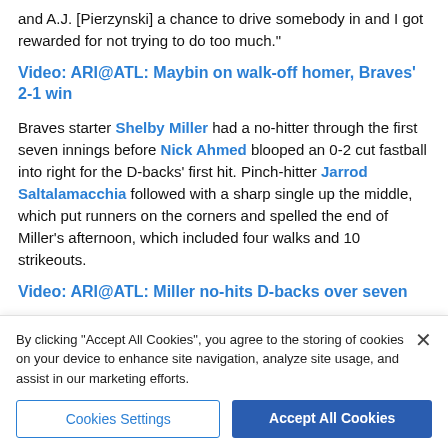and A.J. [Pierzynski] a chance to drive somebody in and I got rewarded for not trying to do too much."
Video: ARI@ATL: Maybin on walk-off homer, Braves' 2-1 win
Braves starter Shelby Miller had a no-hitter through the first seven innings before Nick Ahmed blooped an 0-2 cut fastball into right for the D-backs' first hit. Pinch-hitter Jarrod Saltalamacchia followed with a sharp single up the middle, which put runners on the corners and spelled the end of Miller's afternoon, which included four walks and 10 strikeouts.
Video: ARI@ATL: Miller no-hits D-backs over seven
By clicking “Accept All Cookies”, you agree to the storing of cookies on your device to enhance site navigation, analyze site usage, and assist in our marketing efforts.
Cookies Settings | Accept All Cookies